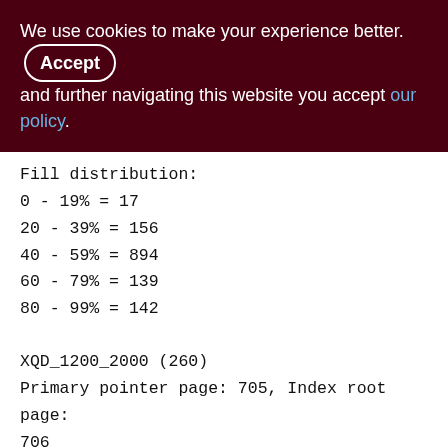We use cookies to make your experience better. By accepting and further navigating this website you accept our policy.
Fill distribution:
0 - 19% = 17
20 - 39% = 156
40 - 59% = 894
60 - 79% = 139
80 - 99% = 142

XQD_1200_2000 (260)
Primary pointer page: 705, Index root page: 706
Total formats: 1, used formats: 1
Average record length: 10.64, total records: 143689